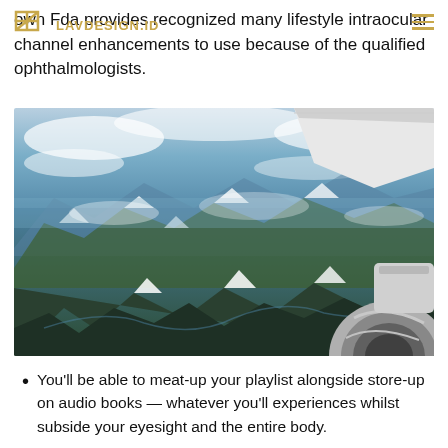own Fda provides recognized many lifestyle intraocular channel enhancements to use because of the qualified ophthalmologists.
[Figure (photo): Aerial view from airplane window showing snow-capped mountains and clouds below, with an airplane engine and wing tip visible on the right side of the frame.]
You'll be able to meat-up your playlist alongside store-up on audio books — whatever you'll experiences whilst subside your eyesight and the entire body.